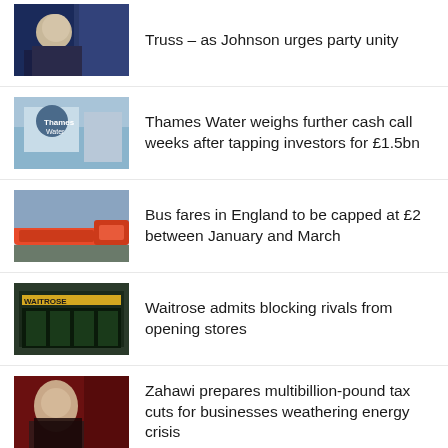Truss – as Johnson urges party unity
Thames Water weighs further cash call weeks after tapping investors for £1.5bn
Bus fares in England to be capped at £2 between January and March
Waitrose admits blocking rivals from opening stores
Zahawi prepares multibillion-pound tax cuts for businesses weathering energy crisis
UK forecast to enter recession this year